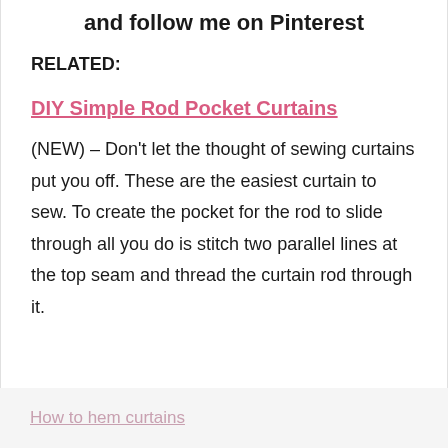and follow me on Pinterest
RELATED:
DIY Simple Rod Pocket Curtains
(NEW) – Don't let the thought of sewing curtains put you off. These are the easiest curtain to sew. To create the pocket for the rod to slide through all you do is stitch two parallel lines at the top seam and thread the curtain rod through it.
How to hem curtains